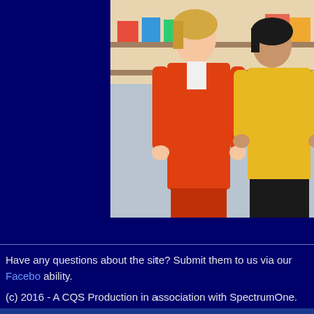[Figure (photo): Two people standing together; one wearing an orange blazer/jacket, and another wearing a yellow top, appearing to be in a colorful indoor setting.]
Have any questions about the site? Submit them to us via our Facebook ability.
(c) 2016 - A CQS Production in association with SpectrumOne.